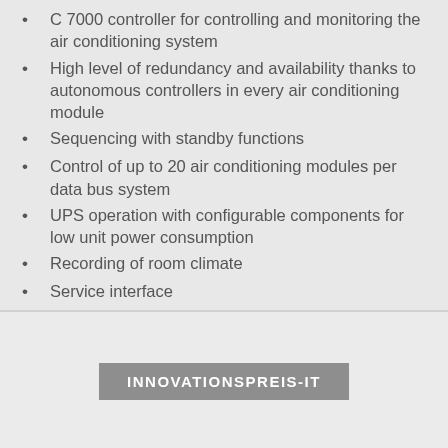C 7000 controller for controlling and monitoring the air conditioning system
High level of redundancy and availability thanks to autonomous controllers in every air conditioning module
Sequencing with standby functions
Control of up to 20 air conditioning modules per data bus system
UPS operation with configurable components for low unit power consumption
Recording of room climate
Service interface
Modbus protocol preinstalled
[Figure (logo): INNOVATIONSPREIS-IT badge/logo in grey rectangle with white bold text]